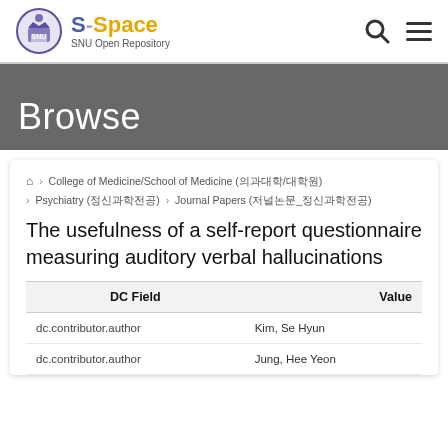S-Space SNU Open Repository
Browse
Home > College of Medicine/School of Medicine (의과대학/대학원) > Psychiatry (정신과학전공) > Journal Papers (저널논문_정신과학전공)
The usefulness of a self-report questionnaire measuring auditory verbal hallucinations
| DC Field | Value |
| --- | --- |
| dc.contributor.author | Kim, Se Hyun |
| dc.contributor.author | Jung, Hee Yeon |